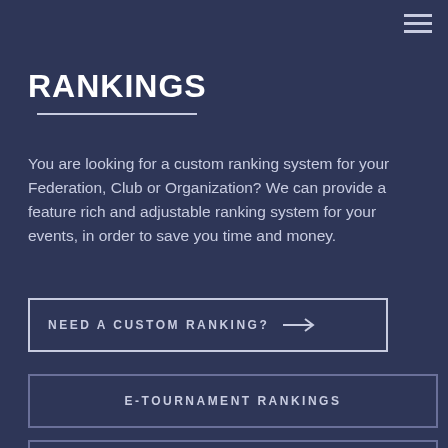≡
RANKINGS
You are looking for a custom ranking system for your Federation, Club or Organization? We can provide a feature rich and adjustable ranking system for your events, in order to save you time and money.
NEED A CUSTOM RANKING? →
E-TOURNAMENT RANKINGS
WKF (WORLD KARATE FEDERATION)